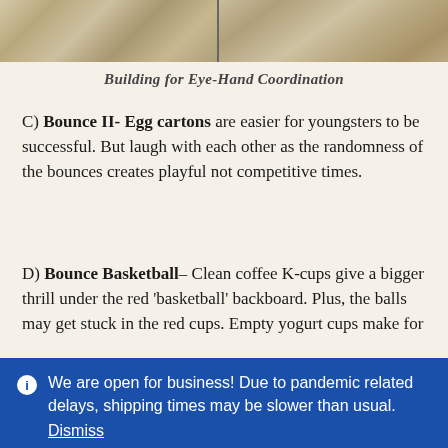[Figure (photo): Two side-by-side photos of wooden/tile floor surfaces at the top of the page]
Building for Eye-Hand Coordination
C) Bounce II- Egg cartons are easier for youngsters to be successful. But laugh with each other as the randomness of the bounces creates playful not competitive times.
D) Bounce Basketball– Clean coffee K-cups give a bigger thrill under the red 'basketball' backboard. Plus, the balls may get stuck in the red cups. Empty yogurt cups make for
We are open for business! Due to pandemic related delays, shipping times may be slower than usual.
Dismiss
[Figure (screenshot): Bottom navigation bar with user/account icon, search icon, and cart icon with badge showing 0]